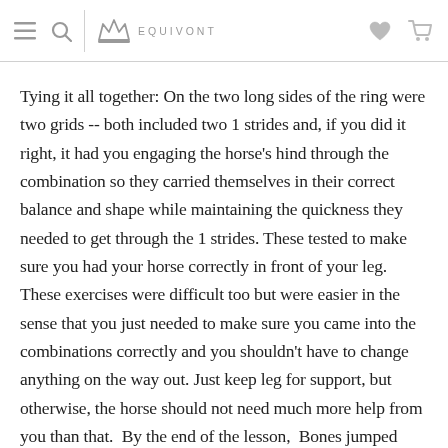EQUIVONT
Tying it all together: On the two long sides of the ring were two grids -- both included two 1 strides and, if you did it right, it had you engaging the horse's hind through the combination so they carried themselves in their correct balance and shape while maintaining the quickness they needed to get through the 1 strides. These tested to make sure you had your horse correctly in front of your leg. These exercises were difficult too but were easier in the sense that you just needed to make sure you came into the combinations correctly and you shouldn't have to change anything on the way out. Just keep leg for support, but otherwise, the horse should not need much more help from you than that.  By the end of the lesson,  Bones jumped through these grids and felt like a different horse. There was self-carriage where  I could have a loose rein and he was able to balance